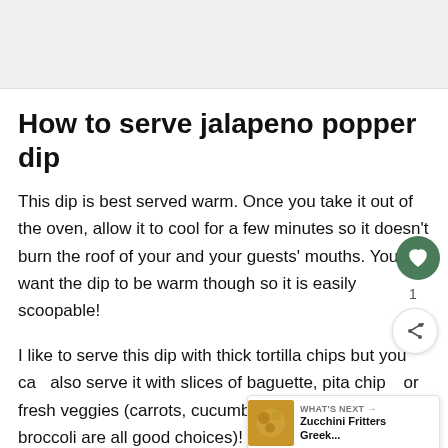[Figure (photo): Food photo placeholder at top of page]
How to serve jalapeno popper dip
This dip is best served warm. Once you take it out of the oven, allow it to cool for a few minutes so it doesn't burn the roof of your and your guests' mouths. You will want the dip to be warm though so it is easily scoopable!
I like to serve this dip with thick tortilla chips but you can also serve it with slices of baguette, pita chips, or fresh veggies (carrots, cucumbers, bell peppers, and broccoli are all good choices)!